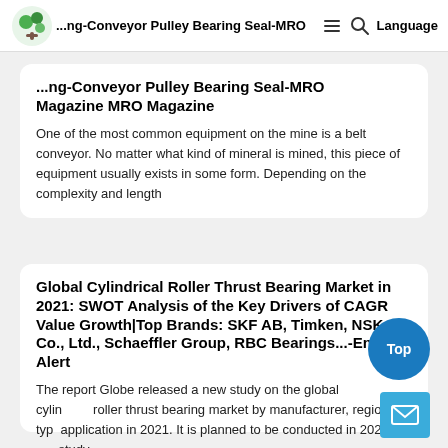...ng-Conveyor Pulley Bearing Seal-MRO Magazine MRO Magazine | Language
...ng-Conveyor Pulley Bearing Seal-MRO Magazine MRO Magazine
One of the most common equipment on the mine is a belt conveyor. No matter what kind of mineral is mined, this piece of equipment usually exists in some form. Depending on the complexity and length
Global Cylindrical Roller Thrust Bearing Market in 2021: SWOT Analysis of the Key Drivers of CAGR Value Growth|Top Brands: SKF AB, Timken, NSK Co., Ltd., Schaeffler Group, RBC Bearings...-Energy Alert
The report Globe released a new study on the global cylindrical roller thrust bearing market by manufacturer, region, type and application in 2021. It is planned to be conducted in 2026. study